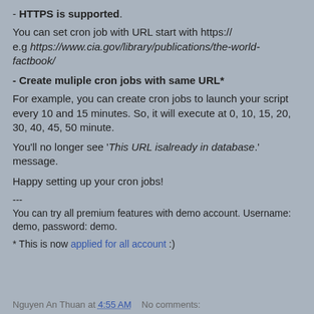- HTTPS is supported.
You can set cron job with URL start with https:// e.g https://www.cia.gov/library/publications/the-world-factbook/
- Create muliple cron jobs with same URL*
For example, you can create cron jobs to launch your script every 10 and 15 minutes. So, it will execute at 0, 10, 15, 20, 30, 40, 45, 50 minute.
You'll no longer see 'This URL isalready in database.' message.
Happy setting up your cron jobs!
---
You can try all premium features with demo account. Username: demo, password: demo.
* This is now applied for all account :)
Nguyen An Thuan at 4:55 AM   No comments: